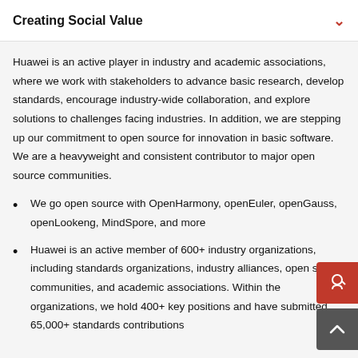Creating Social Value
Huawei is an active player in industry and academic associations, where we work with stakeholders to advance basic research, develop standards, encourage industry-wide collaboration, and explore solutions to challenges facing industries. In addition, we are stepping up our commitment to open source for innovation in basic software. We are a heavyweight and consistent contributor to major open source communities.
We go open source with OpenHarmony, openEuler, openGauss, openLookeng, MindSpore, and more
Huawei is an active member of 600+ industry organizations, including standards organizations, industry alliances, open source communities, and academic associations. Within these organizations, we hold 400+ key positions and have submitted 65,000+ standards contributions